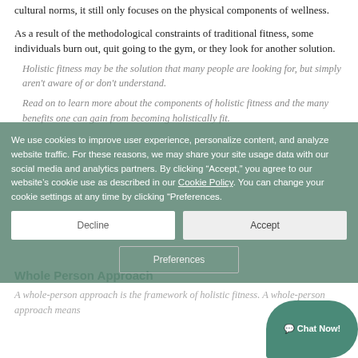cultural norms, it still only focuses on the physical components of wellness.
As a result of the methodological constraints of traditional fitness, some individuals burn out, quit going to the gym, or they look for another solution.
Holistic fitness may be the solution that many people are looking for, but simply aren't aware of or don't understand.
Read on to learn more about the components of holistic fitness and the many benefits one can gain from becoming holistically fit.
Whole Person Approach
A whole-person approach is the framework of holistic fitness. A whole-person approach means
We use cookies to improve user experience, personalize content, and analyze website traffic. For these reasons, we may share your site usage data with our social media and analytics partners. By clicking “Accept,” you agree to our website’s cookie use as described in our Cookie Policy. You can change your cookie settings at any time by clicking “Preferences.
Decline
Accept
Preferences
[Figure (other): Chat Now! button bubble in green at bottom right corner]